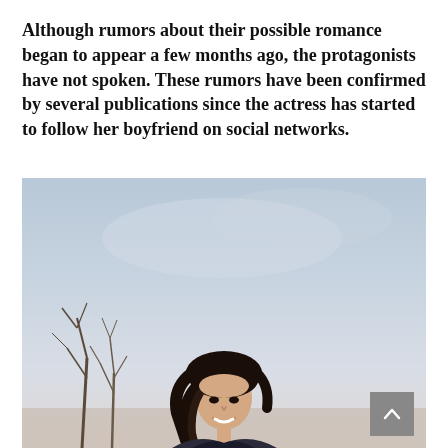Although rumors about their possible romance began to appear a few months ago, the protagonists have not spoken. These rumors have been confirmed by several publications since the actress has started to follow her boyfriend on social networks.
[Figure (photo): A young woman with long dark hair smiling outdoors, with bare winter trees and a pale blue-grey sky in the background.]